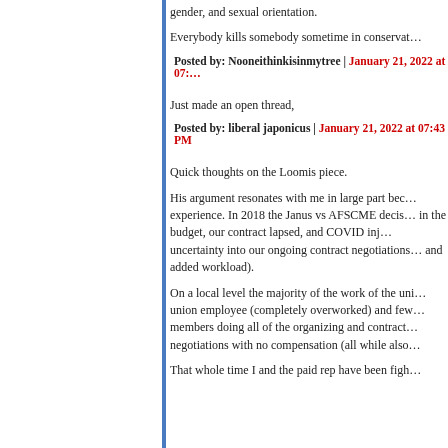gender, and sexual orientation.
Everybody kills somebody sometime in conservat…
Posted by: Nooneithinkisinmytree | January 21, 2022 at 07:…
Just made an open thread,
Posted by: liberal japonicus | January 21, 2022 at 07:43 PM
Quick thoughts on the Loomis piece.
His argument resonates with me in large part bec… experience. In 2018 the Janus vs AFSCME decis… in the budget, our contract lapsed, and COVID inj… uncertainty into our ongoing contract negotiations… and added workload).
On a local level the majority of the work of the uni… union employee (completely overworked) and few… members doing all of the organizing and contract… negotiations with no compensation (all while also…
That whole time I and the paid rep have been figh…